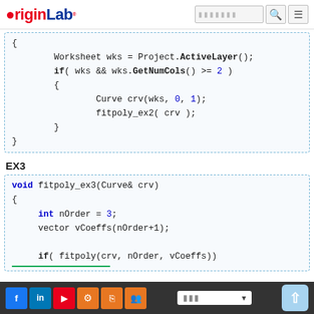OriginLab
Code block (continuation): Worksheet wks = Project.ActiveLayer(); if( wks && wks.GetNumCols() >= 2 ) { Curve crv(wks, 0, 1); fitpoly_ex2( crv ); } }
EX3
void fitpoly_ex3(Curve& crv) { int nOrder = 3; vector vCoeffs(nOrder+1); if( fitpoly(crv, nOrder, vCoeffs))
Social icons, language selector, scroll-to-top button